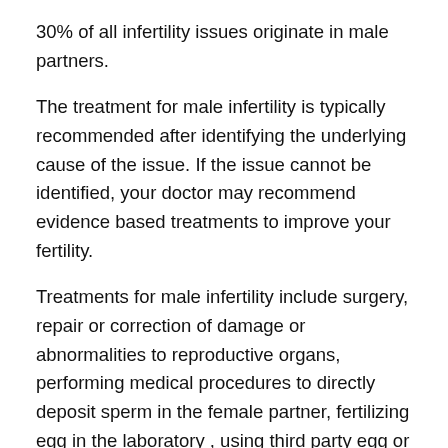30% of all infertility issues originate in male partners.
The treatment for male infertility is typically recommended after identifying the underlying cause of the issue. If the issue cannot be identified, your doctor may recommend evidence based treatments to improve your fertility.
Treatments for male infertility include surgery, repair or correction of damage or abnormalities to reproductive organs, performing medical procedures to directly deposit sperm in the female partner, fertilizing egg in the laboratory , using third party egg or sperm donors, or even a surrogate mother.
Medications can also treat certain issues affecting male infertility, such as  erectile dysfunction and hormonal imbalances. Surgery is also effective for repairing varicocele or repairing blocked tubes that transport the